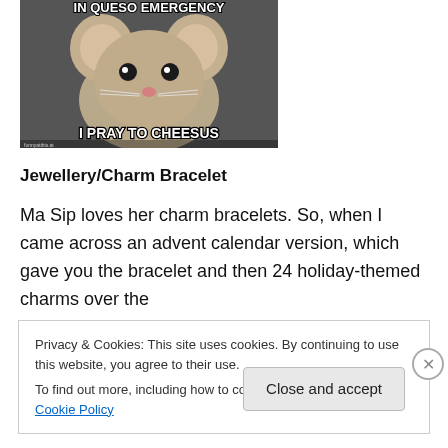[Figure (photo): A meme image showing a close-up of a mouse with large ears and the text 'IN QUESO EMERGENCY' at the top and 'I PRAY TO CHEESUS' at the bottom in bold white font with dark outline.]
Jewellery/Charm Bracelet
Ma Sip loves her charm bracelets. So, when I came across an advent calendar version, which gave you the bracelet and then 24 holiday-themed charms over the
Privacy & Cookies: This site uses cookies. By continuing to use this website, you agree to their use.
To find out more, including how to control cookies, see here: Cookie Policy
Close and accept